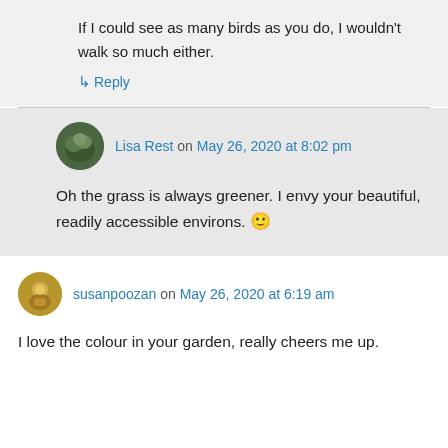If I could see as many birds as you do, I wouldn't walk so much either.
↳ Reply
Lisa Rest on May 26, 2020 at 8:02 pm
Oh the grass is always greener. I envy your beautiful, readily accessible environs. 🙂
susanpoozan on May 26, 2020 at 6:19 am
I love the colour in your garden, really cheers me up.